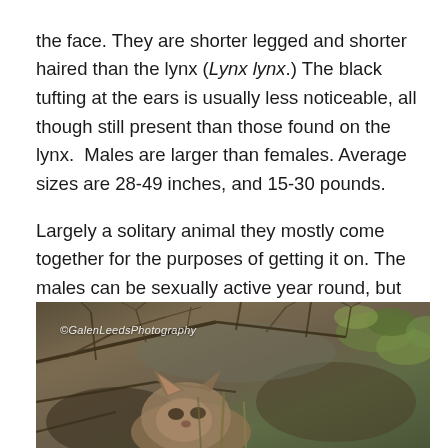the face. They are shorter legged and shorter haired than the lynx (Lynx lynx.) The black tufting at the ears is usually less noticeable, all though still present than those found on the lynx.  Males are larger than females. Average sizes are 28-49 inches, and 15-30 pounds.
Largely a solitary animal they mostly come together for the purposes of getting it on. The males can be sexually active year round, but the females generally only go into heat for the months of February or March. The cats mate through a series of fake hunting and chasing games.
[Figure (photo): Close-up photograph of a bobcat face peering upward through twigs and brush, with green foliage visible in background. Watermark reads ©GalenLeedsPhotography.]